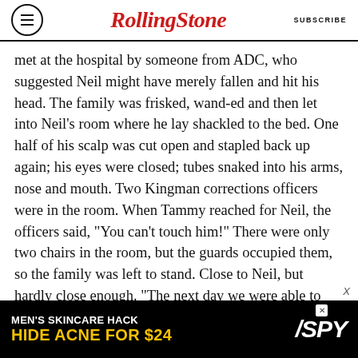RollingStone | SUBSCRIBE
met at the hospital by someone from ADC, who suggested Neil might have merely fallen and hit his head. The family was frisked, wand-ed and then let into Neil’s room where he lay shackled to the bed. One half of his scalp was cut open and stapled back up again; his eyes were closed; tubes snaked into his arms, nose and mouth. Two Kingman corrections officers were in the room. When Tammy reached for Neil, the officers said, “You can’t touch him!” There were only two chairs in the room, but the guards occupied them, so the family was left to stand. Close to Neil, but hardly close enough. “The next day we were able to hold his hand,” Tyler says. “He was unresponsive and
[Figure (infographic): Advertisement banner: MEN'S SKINCARE HACK / HIDE ACNE FOR $24 with SPY logo]